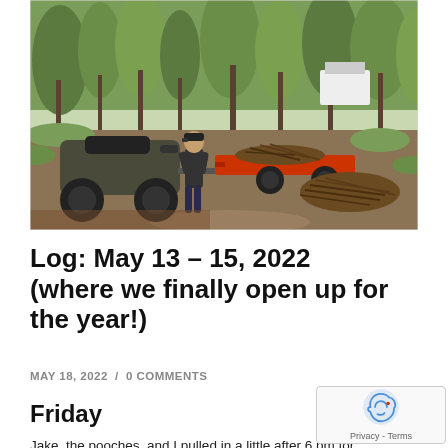[Figure (photo): Outdoor photo of a person standing next to an ATV (all-terrain vehicle) pulling a red flatbed trailer loaded with branches/brush. A pile of cut branches sits on the ground nearby. Green trees and a white structure are visible in the background.]
Log: May 13 – 15, 2022 (where we finally open up for the year!)
MAY 18, 2022  /  0 COMMENTS
Friday
Jake, the pooches, and I pulled in a little after 6 pm for